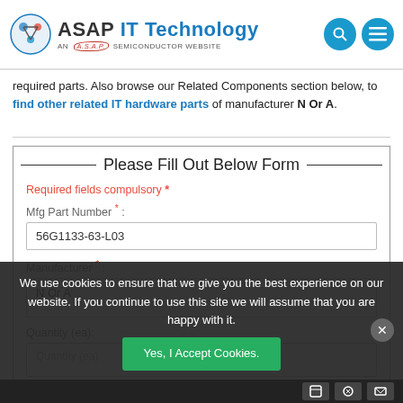[Figure (logo): ASAP IT Technology logo with A.S.A.P. Semiconductor website tagline, search icon, and menu icon]
required parts. Also browse our Related Components section below, to find other related IT hardware parts of manufacturer N Or A.
Please Fill Out Below Form
Required fields compulsory *
Mfg Part Number * :
56G1133-63-L03
Manufacturer * :
N Or A
Quantity (ea):
We use cookies to ensure that we give you the best experience on our website. If you continue to use this site we will assume that you are happy with it.
Yes, I Accept Cookies.